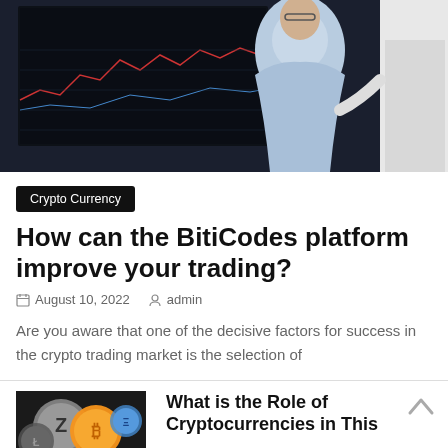[Figure (photo): A man in a light blue jacket viewed from behind, sitting at a desk with multiple monitors displaying trading charts and financial data. Another person in white stands to the right.]
Crypto Currency
How can the BitiCodes platform improve your trading?
August 10, 2022   admin
Are you aware that one of the decisive factors for success in the crypto trading market is the selection of
[Figure (photo): Thumbnail image showing various cryptocurrency coins including Zcash and Bitcoin.]
What is the Role of Cryptocurrencies in This